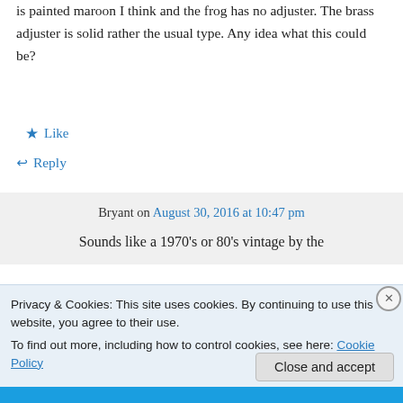is painted maroon I think and the frog has no adjuster. The brass adjuster is solid rather the usual type. Any idea what this could be?
★ Like
↩ Reply
Bryant on August 30, 2016 at 10:47 pm
Sounds like a 1970's or 80's vintage by the
Privacy & Cookies: This site uses cookies. By continuing to use this website, you agree to their use.
To find out more, including how to control cookies, see here: Cookie Policy
Close and accept